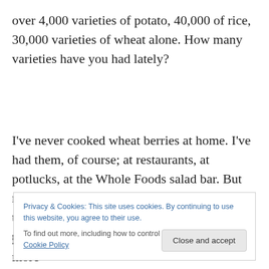over 4,000 varieties of potato, 40,000 of rice, 30,000 varieties of wheat alone. How many varieties have you had lately?
I've never cooked wheat berries at home. I've had them, of course; at restaurants, at potlucks, at the Whole Foods salad bar. But not often, surely. And it seems kind of crazy to me that I've passed by that bin in the bulk section of my
Privacy & Cookies: This site uses cookies. By continuing to use this website, you agree to their use.
To find out more, including how to control cookies, see here: Cookie Policy
Close and accept
grains. Why? Why, indeed. Okay, instead, more